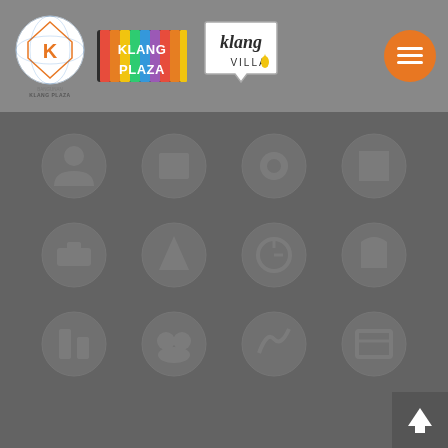[Figure (logo): Navigation header bar with three logos: (1) Bangunan Klang Plaza circular logo with orange diamond/K shape and globe, (2) Klang Plaza colorful vertical-stripe text logo, (3) Klang Villa speech bubble logo. Plus an orange hamburger menu button on the right.]
[Figure (infographic): Dark grey main content area showing a 4x3 grid of faded circular category icons, largely obscured/dark. A scroll-to-top button (dark grey square with upward arrow) is in the bottom right corner.]